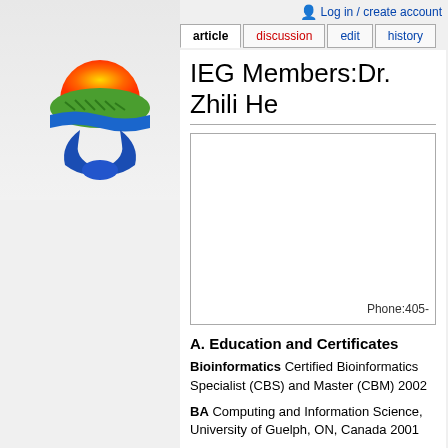Log in / create account
article | discussion | edit | history
[Figure (logo): IEG/SERI organizational logo with sun, green hills, and blue ribbon/globe graphic]
IEG Members:Dr. Zhili He
| Phone:405- |
A. Education and Certificates
Bioinformatics Certified Bioinformatics Specialist (CBS) and Master (CBM) 2002
BA Computing and Information Science, University of Guelph, ON, Canada 2001